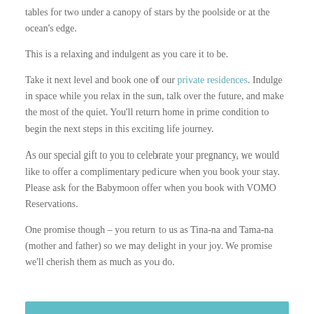tables for two under a canopy of stars by the poolside or at the ocean's edge.
This is a relaxing and indulgent as you care it to be.
Take it next level and book one of our private residences. Indulge in space while you relax in the sun, talk over the future, and make the most of the quiet. You'll return home in prime condition to begin the next steps in this exciting life journey.
As our special gift to you to celebrate your pregnancy, we would like to offer a complimentary pedicure when you book your stay.  Please ask for the Babymoon offer when you book with VOMO Reservations.
One promise though – you return to us as Tina-na and Tama-na (mother and father) so we may delight in your joy. We promise we'll cherish them as much as you do.